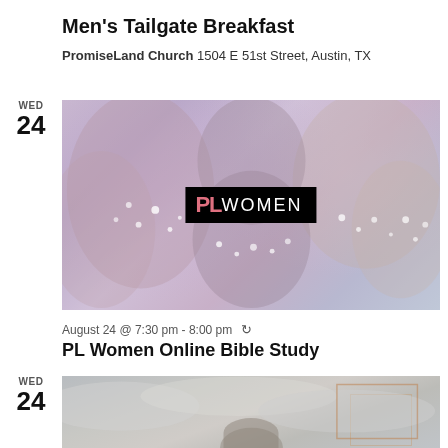Men's Tailgate Breakfast
PromiseLand Church 1504 E 51st Street, Austin, TX
WED 24
[Figure (photo): PL Women promotional image showing women with flowers, with a black badge reading PL WOMEN in center]
August 24 @ 7:30 pm - 8:00 pm (recurring)
PL Women Online Bible Study
WED 24
[Figure (photo): Muted gray sky photo with orange rectangle outline detail, partial silhouette at bottom]